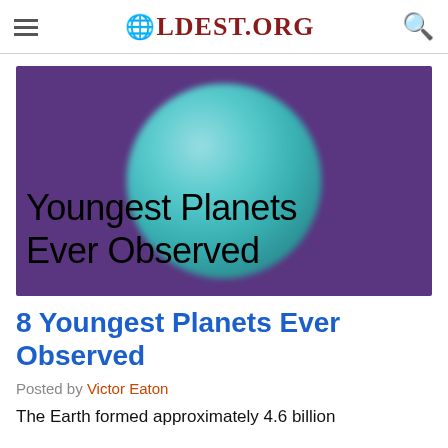8LDEST.ORG
[Figure (illustration): Hero image with purple background and a teal/turquoise glowing planet sphere in center, with text overlay reading 'Youngest Planets Ever Observed']
8 Youngest Planets Ever Observed
Posted by Victor Eaton
The Earth formed approximately 4.6 billion